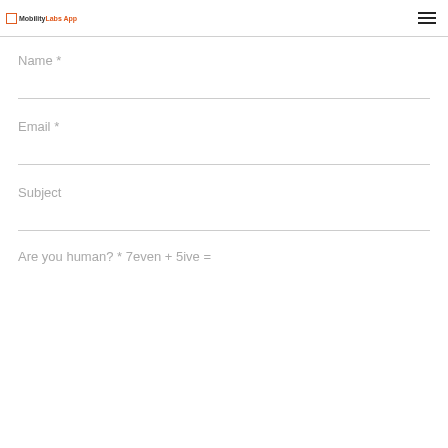MobilityLabs App
Name *
Email *
Subject
Are you human? * 7even + 5ive =